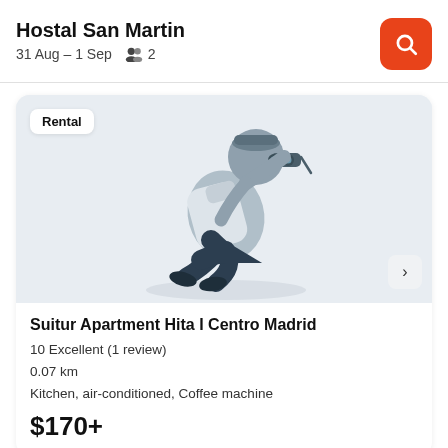Hostal San Martin
31 Aug – 1 Sep   👥 2
[Figure (illustration): Flat illustration of a traveler with a backpack looking through binoculars, rendered in blue-grey tones on a light grey background. A 'Rental' badge appears top-left and a next-arrow button bottom-right.]
Suitur Apartment Hita I Centro Madrid
10 Excellent (1 review)
0.07 km
Kitchen, air-conditioned, Coffee machine
$170+